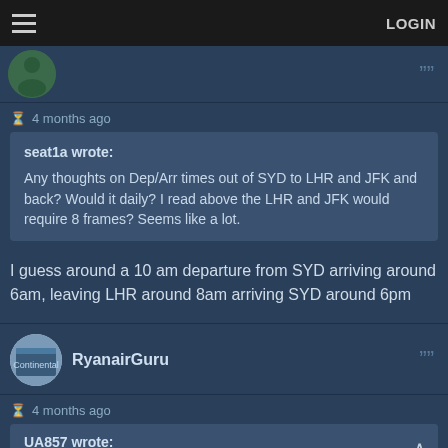LOGIN
4 months ago
seat1a wrote:
Any thoughts on Dep/Arr times out of SYD to LHR and JFK and back? Would it daily? I read above the LHR and JFK would require 8 frames? Seems like a lot.
I guess around a 10 am departure from SYD arriving around 6am, leaving LHR around 8am arriving SYD around 6pm
RyanairGuru
4 months ago
UA857 wrote:
RyanairGuru wrote:
UA857 wrote: